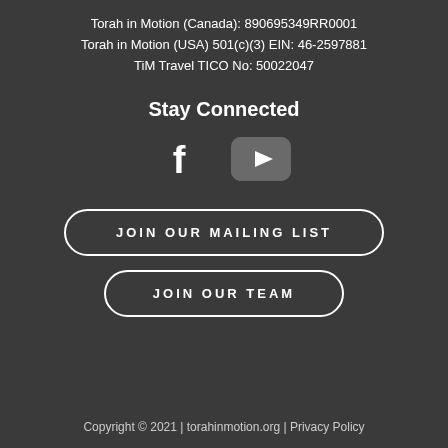Torah in Motion (Canada): 890695349RR0001
Torah in Motion (USA) 501(c)(3) EIN: 46-2597881
TiM Travel TICO No: 50022047
Stay Connected
[Figure (illustration): Facebook logo icon (f) and YouTube play button icon, white on dark background]
JOIN OUR MAILING LIST
JOIN OUR TEAM
Copyright © 2021 | torahinmotion.org | Privacy Policy